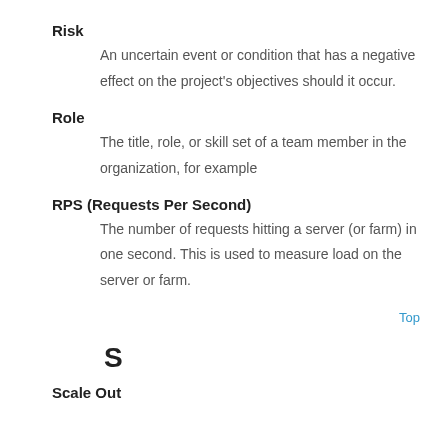Risk
An uncertain event or condition that has a negative effect on the project's objectives should it occur.
Role
The title, role, or skill set of a team member in the organization, for example
RPS (Requests Per Second)
The number of requests hitting a server (or farm) in one second. This is used to measure load on the server or farm.
Top
S
Scale Out